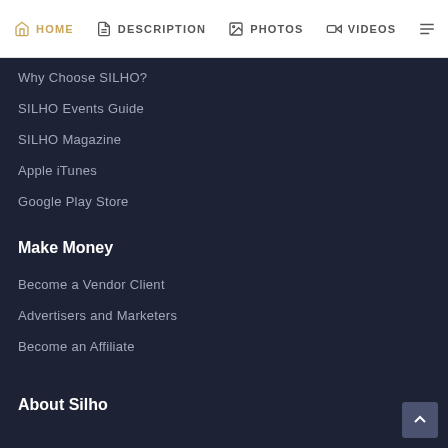HOME   DESCRIPTION   PHOTOS   VIDEOS
Why Choose SILHO?
SILHO Events Guide
SILHO Magazine
Apple iTunes
Google Play Store
Make Money
Become a Vendor Client
Advertisers and Marketers
Become an Affiliate
About Silho